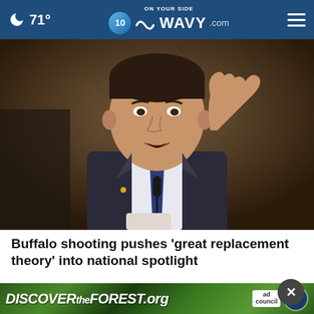🌙 71° | WAVY.com ON YOUR SIDE
[Figure (photo): Man in dark suit with blue tie speaking at a hearing, gesturing with his right hand raised, microphone in front of him]
Buffalo shooting pushes ‘great replacement theory’ into national spotlight
[Figure (other): Advertisement banner: DISCOVERtheFOREST.org with Ad Council and USDA Forest Service logos]